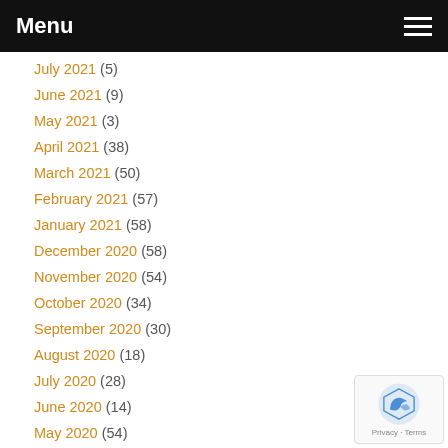Menu
July 2021 (5)
June 2021 (9)
May 2021 (3)
April 2021 (38)
March 2021 (50)
February 2021 (57)
January 2021 (58)
December 2020 (58)
November 2020 (54)
October 2020 (34)
September 2020 (30)
August 2020 (18)
July 2020 (28)
June 2020 (14)
May 2020 (54)
April 2020 (50)
March 2020 (47)
February 2020 (48)